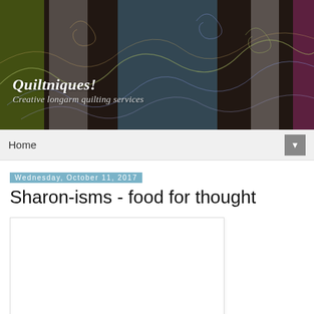[Figure (photo): Quiltniques! blog banner showing colorful quilt fabric patches (green, gray, blue, white, pink) on a dark brown background with decorative swirl quilting patterns. Text overlay reads 'Quiltniques! Creative longarm quilting services' in white italic serif font.]
Home
Wednesday, October 11, 2017
Sharon-isms - food for thought
[Figure (photo): Empty white image card placeholder within a blog post area]